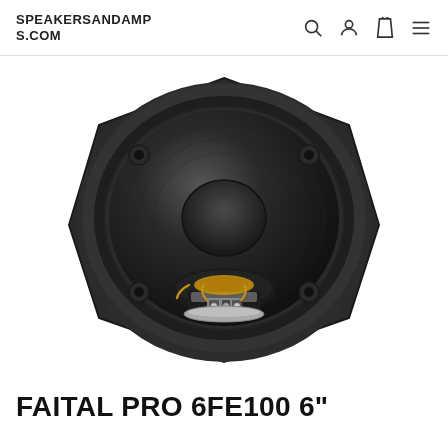SPEAKERSANDAMPS.COM
[Figure (photo): Front view of a Faital Pro 6FE100 6-inch woofer speaker with hexagonal black metal basket, dark cone, rubber surround, yellow spider visible at bottom, and terminal connections.]
FAITAL PRO 6FE100 6"